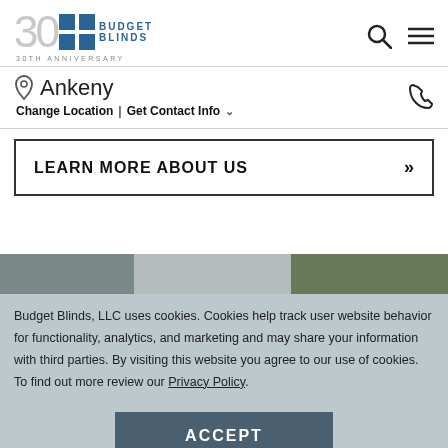[Figure (logo): Budget Blinds 30th Anniversary logo with '30' in gray and blue square icon]
Ankeny
Change Location | Get Contact Info
LEARN MORE ABOUT US »
[Figure (photo): Partial image strip showing window blinds and greenery]
Budget Blinds, LLC uses cookies. Cookies help track user website behavior for functionality, analytics, and marketing and may share your information with third parties. By visiting this website you agree to our use of cookies. To find out more review our Privacy Policy.
ACCEPT